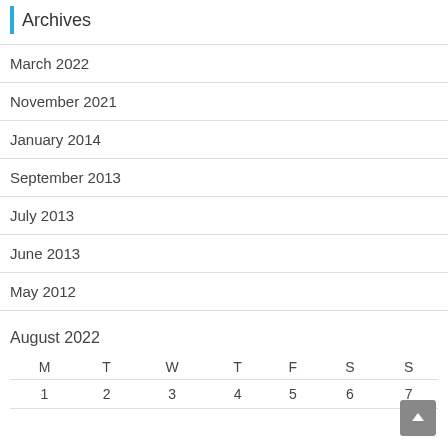Archives
March 2022
November 2021
January 2014
September 2013
July 2013
June 2013
May 2012
| M | T | W | T | F | S | S |
| --- | --- | --- | --- | --- | --- | --- |
| 1 | 2 | 3 | 4 | 5 | 6 | 7 |